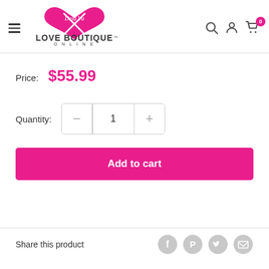[Figure (logo): Deja Vu Love Boutique Online logo with pink heart and crossed hangers]
Price: $55.99
Quantity: 1
Add to cart
Share this product